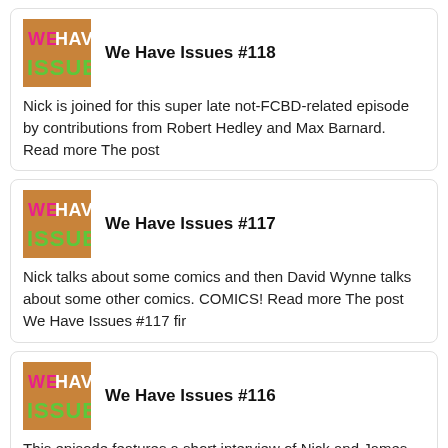[Figure (logo): We Have Issues podcast logo - orange/tan background with 'WE HAVE' in pink/magenta and 'ISSUES' in green block letters]
We Have Issues #118
Nick is joined for this super late not-FCBD-related episode by contributions from Robert Hedley and Max Barnard. Read more The post
[Figure (logo): We Have Issues podcast logo - orange/tan background with 'WE HAVE' in pink/magenta and 'ISSUES' in green block letters]
We Have Issues #117
Nick talks about some comics and then David Wynne talks about some other comics. COMICS! Read more The post We Have Issues #117 fir
[Figure (logo): We Have Issues podcast logo - orange/tan background with 'WE HAVE' in pink/magenta and 'ISSUES' in green block letters]
We Have Issues #116
This episode features a short interview of Nick and James by